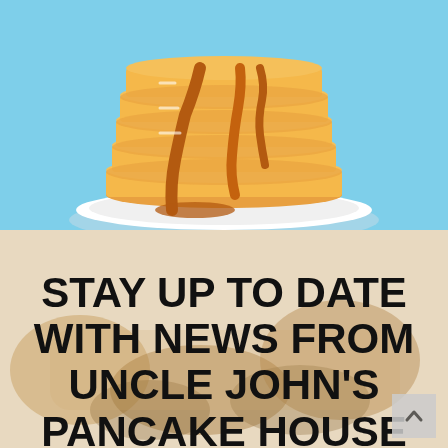[Figure (illustration): Illustration of a tall stack of pancakes with maple syrup dripping down, on a white plate, against a light blue background. Top portion of image is cropped.]
[Figure (photo): Blurred/faded background photo of a breakfast plate with food (appears to be bacon, eggs, etc.), used as background for the bottom section.]
STAY UP TO DATE WITH NEWS FROM UNCLE JOHN'S PANCAKE HOUSE